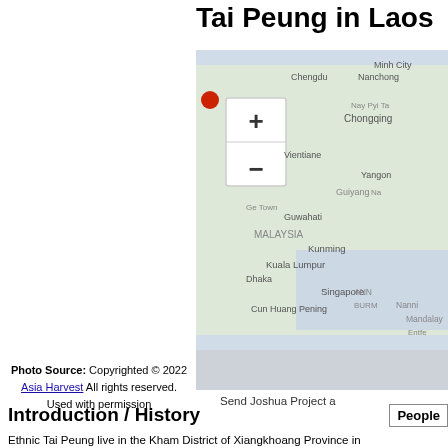Tai Peung in Laos
[Figure (map): Interactive map showing Southeast and East Asia region with zoom controls, a red location marker, and city/country labels including Minh City, Chengdu, Nanchong, Chongqing, Vientiane, Yangon, Guiyang, Guwahati, MALAYSIA, Kunming, Kuala Lumpur, Dhaka, Singapore, Nanning, Kunming, Penang, Mandalay.]
Send Joshua Project a
Photo Source: Copyrighted © 2022
Asia Harvest  All rights reserved. Used with permission
Introduction / History
Ethnic Tai Peung live in the Kham District of Xiangkhoang Province in
[Figure (other): People box label partial]